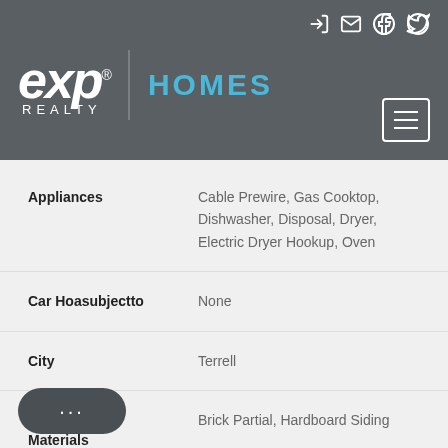[Figure (logo): eXp Realty logo with HOMES text and navigation header on dark gray background]
| Appliances | Cable Prewire, Gas Cooktop, Dishwasher, Disposal, Dryer, Electric Dryer Hookup, Oven |
| Car Hoasubjectto | None |
| City | Terrell |
| Construction Materials | Brick Partial, Hardboard Siding |
| Construction Type | Site Built |
|  | Catawba |